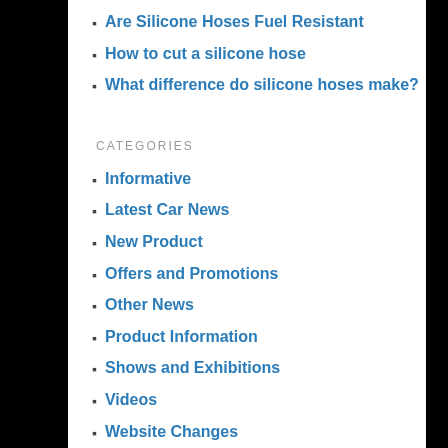Are Silicone Hoses Fuel Resistant
How to cut a silicone hose
What difference do silicone hoses make?
CATEGORIES
Informative
Latest Car News
New Product
Offers and Promotions
Other News
Product Information
Shows and Exhibitions
Videos
Website Changes
RECENT POSTS
Silicone and Aluminium Blanking
Mercedes to become the first sports team to invest in sustainable aviation fuel
Triple Eight blocks van Gisbergen Trans Am deal